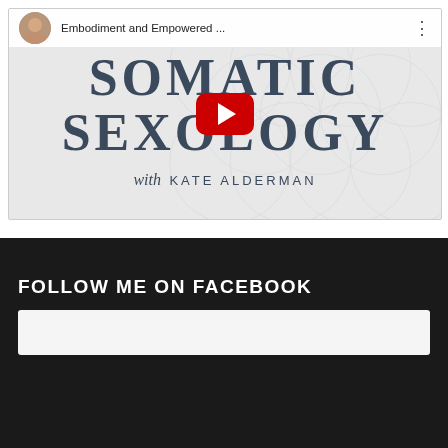[Figure (screenshot): YouTube video embed thumbnail showing 'Embodiment and Empowered ...' title with a profile avatar, three-dots menu, and a red YouTube play button. The thumbnail background shows 'SOMATIC SEXOLOGY with KATE ALDERMAN' text over a flower of life geometric pattern on a light grey background.]
FOLLOW ME ON FACEBOOK